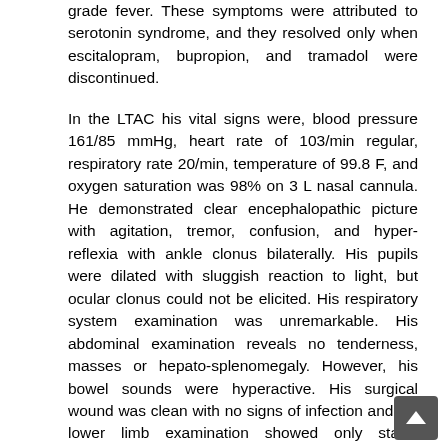grade fever. These symptoms were attributed to serotonin syndrome, and they resolved only when escitalopram, bupropion, and tramadol were discontinued.
In the LTAC his vital signs were, blood pressure 161/85 mmHg, heart rate of 103/min regular, respiratory rate 20/min, temperature of 99.8 F, and oxygen saturation was 98% on 3 L nasal cannula. He demonstrated clear encephalopathic picture with agitation, tremor, confusion, and hyper-reflexia with ankle clonus bilaterally. His pupils were dilated with sluggish reaction to light, but ocular clonus could not be elicited. His respiratory system examination was unremarkable. His abdominal examination reveals no tenderness, masses or hepato-splenomegaly. However, his bowel sounds were hyperactive. His surgical wound was clean with no signs of infection and his lower limb examination showed only stasis dermatitis with no tenderness or edema. Magnetic resonance imaging of the brain for perfusion (MRI-perfusion) study was not performed.